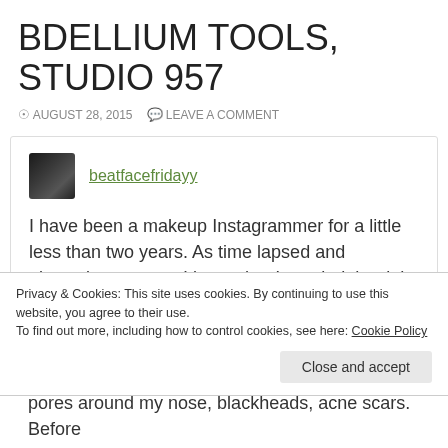BDELLIUM TOOLS, STUDIO 957
AUGUST 28, 2015   LEAVE A COMMENT
beatfacefridayy
I have been a makeup Instagrammer for a little less than two years. As time lapsed and obsessions grew – I knew that I needed the right tools to apply my makeup. If you have followed me on Instagram when I had little to no followers, you have probably watched my makeup
Privacy & Cookies: This site uses cookies. By continuing to use this website, you agree to their use.
To find out more, including how to control cookies, see here: Cookie Policy
Close and accept
pores around my nose, blackheads, acne scars. Before